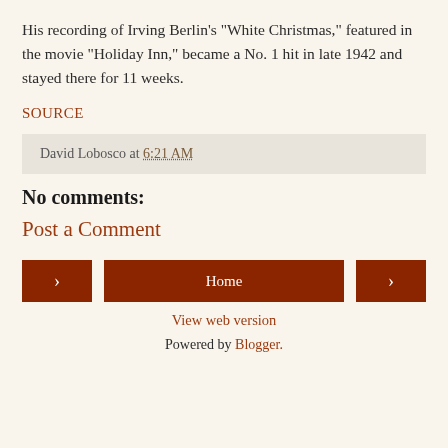His recording of Irving Berlin's "White Christmas," featured in the movie "Holiday Inn," became a No. 1 hit in late 1942 and stayed there for 11 weeks.
SOURCE
David Lobosco at 6:21 AM
No comments:
Post a Comment
< Home >
View web version
Powered by Blogger.